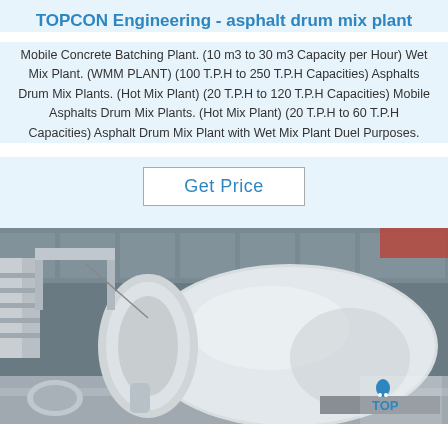TOPCON Engineering - asphalt drum mix plant
Mobile Concrete Batching Plant. (10 m3 to 30 m3 Capacity per Hour) Wet Mix Plant. (WMM PLANT) (100 T.P.H to 250 T.P.H Capacities) Asphalts Drum Mix Plants. (Hot Mix Plant) (20 T.P.H to 120 T.P.H Capacities) Mobile Asphalts Drum Mix Plants. (Hot Mix Plant) (20 T.P.H to 60 T.P.H Capacities) Asphalt Drum Mix Plant with Wet Mix Plant Duel Purposes.
Get Price
[Figure (photo): A white concrete mixer truck drum in an industrial factory/warehouse setting, with a TOPCON logo visible in the lower right corner.]